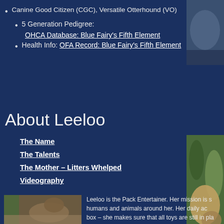Canine Good Citizen (CGC), Versatile Otterhound (VO)
5 Generation Pedigree: OHCA Database: Blue Fairy's Fifth Element
Health Info: OFA Record: Blue Fairy's Fifth Element
[Figure (photo): Photo of a dog, top right]
About Leeloo
The Name
The Talents
The Mother – Litters Whelped
Videography
[Figure (photo): Photo of a dog with decorative elements, mid right]
[Figure (photo): Photo of a dog near a plant, bottom left]
Leeloo is the Pack Entertainer. Her mission is s... humans and animals around her. Her daily ac... box – she makes sure that all toys are still in pla... of the day. If there are any chewies (raw hide c...